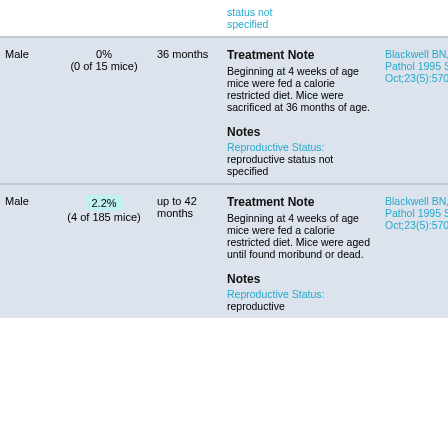| Sex | Incidence | Duration | Notes/Treatment | Reference |
| --- | --- | --- | --- | --- |
|  |  |  | status not specified |  |
| Male | 0%
(0 of 15 mice) | 36 months | Treatment Note
Beginning at 4 weeks of age mice were fed a calorie restricted diet. Mice were sacrificed at 36 months of age.

Notes
Reproductive Status: reproductive status not specified | Blackwell BN, Toxicol Pathol 1995 Sep-Oct;23(5):570-82 |
| Male | 2.2%
(4 of 185 mice) | up to 42 months | Treatment Note
Beginning at 4 weeks of age mice were fed a calorie restricted diet. Mice were aged until found moribund or dead.

Notes
Reproductive Status: reproductive | Blackwell BN, Toxicol Pathol 1995 Sep-Oct;23(5):570-82 |